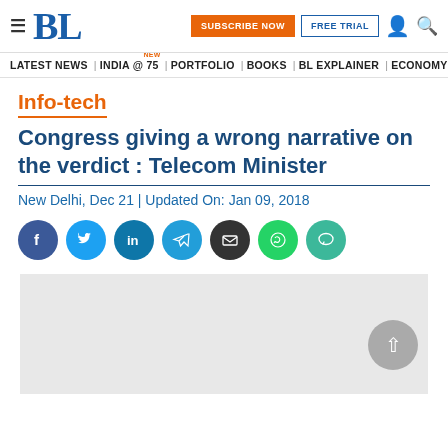BL | SUBSCRIBE NOW | FREE TRIAL
LATEST NEWS | INDIA @ 75 NEW | PORTFOLIO | BOOKS | BL EXPLAINER | ECONOMY | AGR
Info-tech
Congress giving a wrong narrative on the verdict : Telecom Minister
New Delhi, Dec 21 | Updated On: Jan 09, 2018
[Figure (infographic): Social sharing icons row: Facebook, Twitter, LinkedIn, Telegram, Email, WhatsApp, Comment]
[Figure (other): Advertisement placeholder banner (light gray background)]